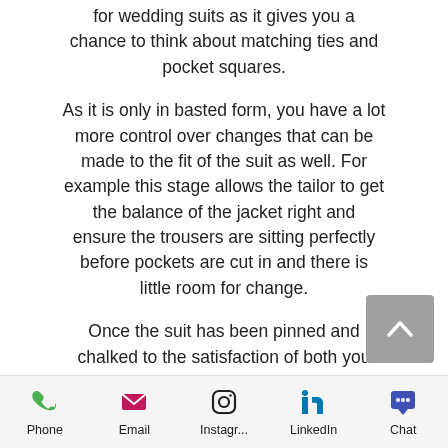for wedding suits as it gives you a chance to think about matching ties and pocket squares.
As it is only in basted form, you have a lot more control over changes that can be made to the fit of the suit as well. For example this stage allows the tailor to get the balance of the jacket right and ensure the trousers are sitting perfectly before pockets are cut in and there is little room for change.
Once the suit has been pinned and chalked to the satisfaction of both you and the tailor, it is then taken apart and recut with any of the changes that need
[Figure (other): Scroll-to-top button (grey square with upward chevron arrow)]
Phone | Email | Instagr... | LinkedIn | Chat